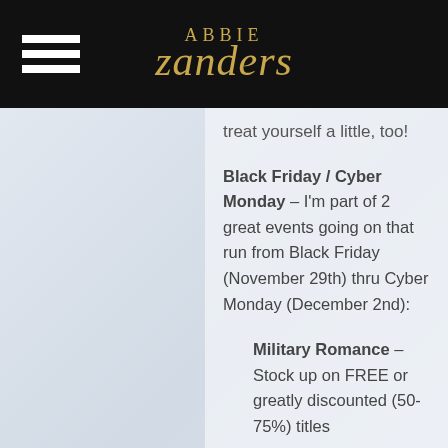Abbie Zanders
treat yourself a little, too!
Black Friday / Cyber Monday – I'm part of 2 great events going on that run from Black Friday (November 29th) thru Cyber Monday (December 2nd):
Military Romance – Stock up on FREE or greatly discounted (50-75%) titles